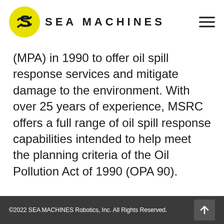SEA MACHINES
(MPA) in 1990 to offer oil spill response services and mitigate damage to the environment. With over 25 years of experience, MSRC offers a full range of oil spill response capabilities intended to help meet the planning criteria of the Oil Pollution Act of 1990 (OPA 90).
# # #
©2022 SEA MACHINES Robotics, Inc. All Rights Reserved.